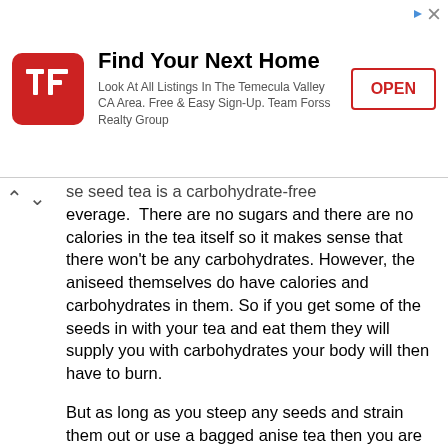[Figure (other): Advertisement banner: Team Forss Realty Group ad with red TF logo, title 'Find Your Next Home', subtitle 'Look At All Listings In The Temecula Valley CA Area. Free & Easy Sign-Up. Team Forss Realty Group', and an OPEN button.]
se seed tea is a carbohydrate-free beverage.  There are no sugars and there are no calories in the tea itself so it makes sense that there won't be any carbohydrates. However, the aniseed themselves do have calories and carbohydrates in them. So if you get some of the seeds in with your tea and eat them they will supply you with carbohydrates your body will then have to burn.

But as long as you steep any seeds and strain them out or use a bagged anise tea then you are not going to have any problems with carbohydrates in your tea. This is hugely important for a wide variety of diets. If you're on an Atkins diet, for example, you have to limit the number of carbohydrates you take in.